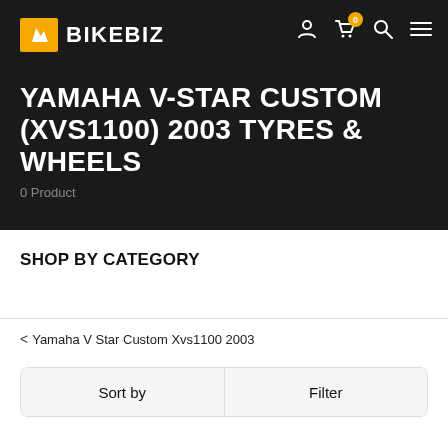BIKEBIZ
YAMAHA V-STAR CUSTOM (XVS1100) 2003 TYRES & WHEELS
0 Product
SHOP BY CATEGORY
< Yamaha V Star Custom Xvs1100 2003
Sort by    Filter